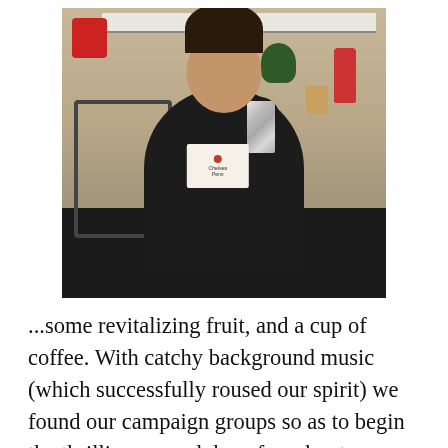[Figure (photo): A smiling young woman with dark hair sitting at a desk in a classroom or meeting room, holding a foil-wrapped item (like a burrito) and wearing a nametag that reads 'Chelsea Penn' or similar. Background shows a whiteboard, a red water bottle, cup, chair, and plant.]
...some revitalizing fruit, and a cup of coffee. With catchy background music (which successfully roused our spirit) we found our campaign groups so as to begin the thrilling second day of our bootcamp experience.